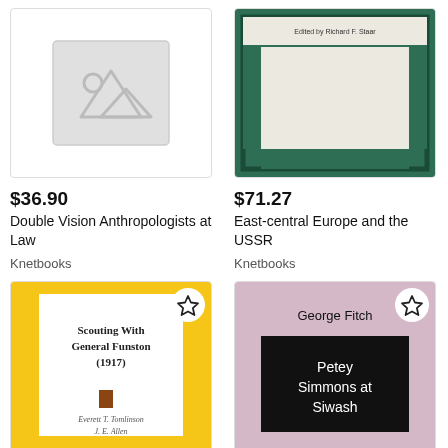[Figure (illustration): Placeholder book cover image with mountain/image icon]
$36.90
Double Vision Anthropologists at Law
Knetbooks
[Figure (photo): Book cover of East-central Europe and the USSR, green and white design, edited by Richard F. Staar]
$71.27
East-central Europe and the USSR
Knetbooks
[Figure (photo): Book cover of Scouting With General Funston (1917), yellow border with white center, by Everett T. Tomlinson and J.E. Allen]
[Figure (photo): Book cover of Petey Simmons at Siwash by George Fitch, pink/mauve cover with black title box]
$27.67
$26.48